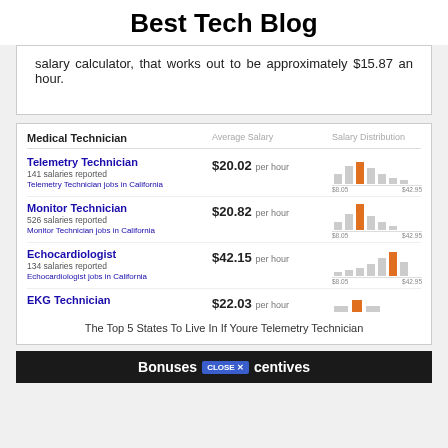Best Tech Blog
salary calculator, that works out to be approximately $15.87 an hour.
| Medical Technician | Average Salary | Salary Distribution |
| --- | --- | --- |
| Telemetry Technician
141 salaries reported
Telemetry Technician jobs in California | $20.02 per hour | histogram |
| Monitor Technician
526 salaries reported
Monitor Technician jobs in California | $20.82 per hour | histogram |
| Echocardiologist
134 salaries reported
Echocardiologist jobs in California | $42.15 per hour | histogram |
| EKG Technician | $22.03 per hour | histogram |
The Top 5 States To Live In If Youre Telemetry Technician
[Figure (other): Advertisement banner showing 'Bonuses [CLOSE X] centives']